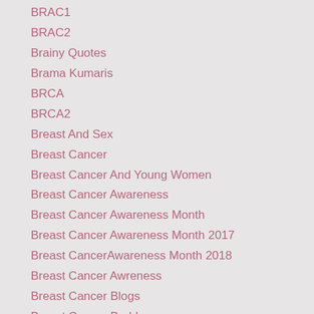BRAC1
BRAC2
Brainy Quotes
Brama Kumaris
BRCA
BRCA2
Breast And Sex
Breast Cancer
Breast Cancer And Young Women
Breast Cancer Awareness
Breast Cancer Awareness Month
Breast Cancer Awareness Month 2017
Breast CancerAwareness Month 2018
Breast Cancer Awreness
Breast Cancer Blogs
Breast Cancer Buddy
Breast Cancer Cure
Breast Cancer Diagnosis
Breast Cancer Husband